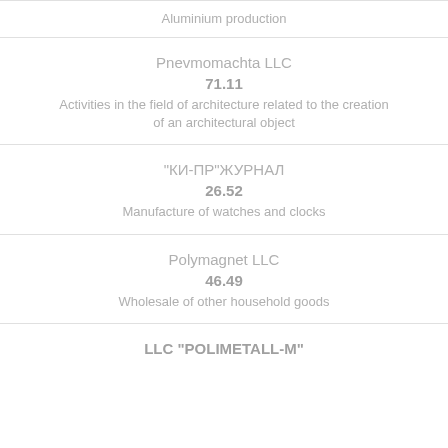Aluminium production
Pnevmomachta LLC
71.11
Activities in the field of architecture related to the creation of an architectural object
“КИ-ПР”ЖУРНАЛ
26.52
Manufacture of watches and clocks
Polymagnet LLC
46.49
Wholesale of other household goods
LLC "POLIMETALL-M"